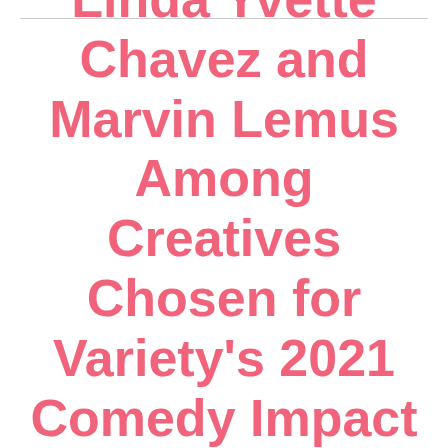Linda Yvette Chavez and Marvin Lemus Among Creatives Chosen for Variety's 2021 Comedy Impact Report